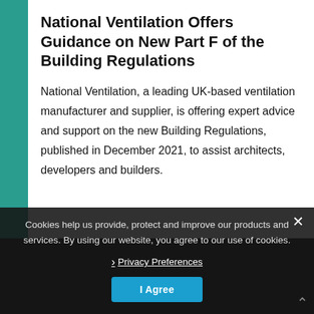National Ventilation Offers Guidance on New Part F of the Building Regulations
National Ventilation, a leading UK-based ventilation manufacturer and supplier, is offering expert advice and support on the new Building Regulations, published in December 2021, to assist architects, developers and builders.
Cookies help us provide, protect and improve our products and services. By using our website, you agree to our use of cookies.
› Privacy Preferences
I Agree